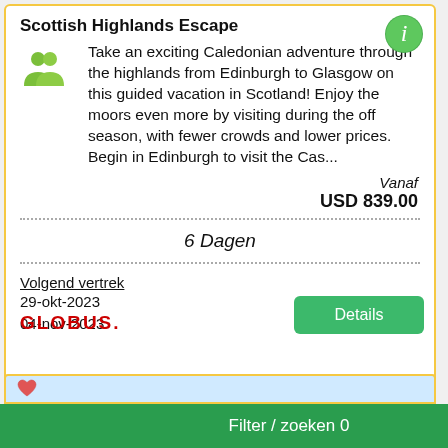Scottish Highlands Escape
Take an exciting Caledonian adventure through the highlands from Edinburgh to Glasgow on this guided vacation in Scotland! Enjoy the moors even more by visiting during the off season, with fewer crowds and lower prices. Begin in Edinburgh to visit the Cas...
Vanaf
USD 839.00
6 Dagen
Volgend vertrek
29-okt-2023
04-nov-2023
[Figure (logo): GLOBUS. logo in red text]
Details
Filter / zoeken 0